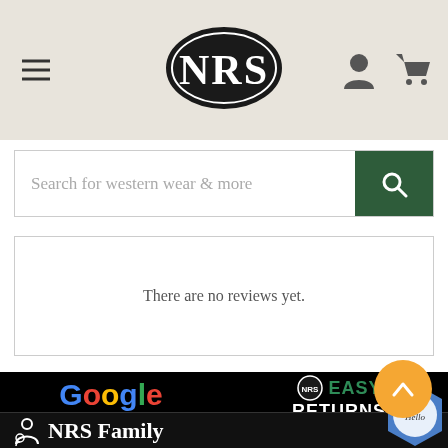[Figure (screenshot): NRS website header with hamburger menu, NRS oval logo, user icon and cart icon on beige background]
[Figure (screenshot): Search bar with placeholder text 'Search for western wear & more' and green search button]
There are no reviews yet.
[Figure (logo): Google five-star rating logo with 'Customer Reviews 4.9 out of 5' text]
[Figure (logo): NRS Easy Returns logo with open box icon]
[Figure (logo): Accessibility icon and NRS Family text in white on black footer bar, with blue Hello badge on right]